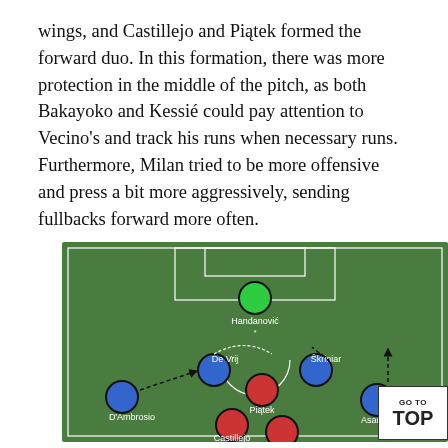wings, and Castillejo and Piątek formed the forward duo. In this formation, there was more protection in the middle of the pitch, as both Bakayoko and Kessié could pay attention to Vecino's and track his runs when necessary runs. Furthermore, Milan tried to be more offensive and press a bit more aggressively, sending fullbacks forward more often.
[Figure (illustration): Football/soccer tactical formation diagram on a green pitch. Shows player positions with colored circles: green circle for Handanović (goalkeeper), blue circles for Inter players (De Vrij, Skriniar, D'Ambrosio, Asamoah), red circles for Milan players (Piątek, Castillejo and others). Dashed arrows indicate player movement. The pitch shows goal area, penalty areas, and center circle markings.]